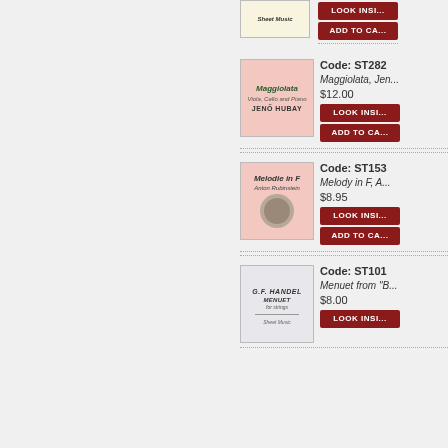[Figure (photo): Sheet music cover thumbnail (partial, top of page)]
LOOK INSIDE
ADD TO CART
Code: ST282
Maggiolata, Jen...
$12.00
[Figure (photo): Sheet music cover: Maggiolata - Viola, Cello and Piano by Jenő Hubay - pink cover]
LOOK INSIDE
ADD TO CART
Code: ST153
Melody in F, A...
$8.95
[Figure (photo): Sheet music cover: Melodie in F by Anton Rubinstein - pink cover with circular medallion]
LOOK INSIDE
ADD TO CART
Code: ST101
Menuet from "B...
$8.00
[Figure (photo): Sheet music cover: G.F. Handel Menuet - gray/white cover]
LOOK INSIDE